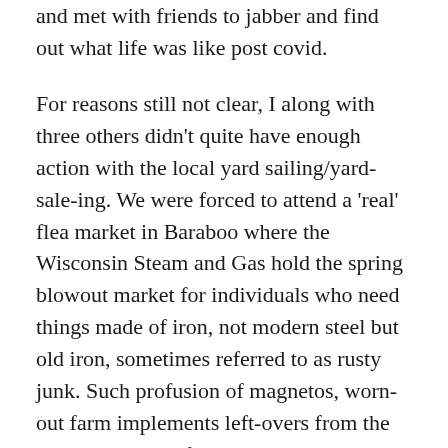and met with friends to jabber and find out what life was like post covid.
For reasons still not clear, I along with three others didn't quite have enough action with the local yard sailing/yard-sale-ing. We were forced to attend a 'real' flea market in Baraboo where the Wisconsin Steam and Gas hold the spring blowout market for individuals who need things made of iron, not modern steel but old iron, sometimes referred to as rusty junk. Such profusion of magnetos, worn-out farm implements left-overs from the dust bowl, colorful painted metal signs festooned with thinly clad, and exaggerated ladies from the forties, complete tractors worn-out from plowing some rock-strewn sand lot in Adams county right next to Ed Gein's old place, and wild assortment single-cylinder gas and diesel engines used for grinding depression era